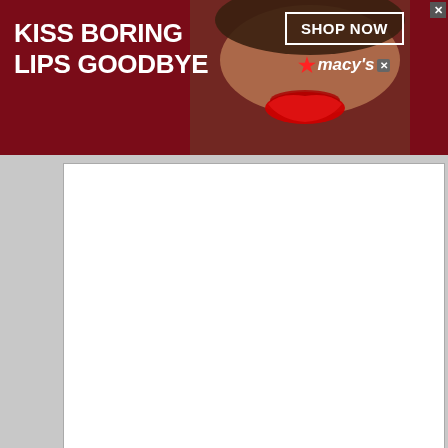[Figure (screenshot): Macy's advertisement banner with dark red background, showing a close-up of a woman's face with red lipstick in the center, bold white text 'KISS BORING LIPS GOODBYE' on the left, and 'SHOP NOW' button with Macy's star logo on the right. An X close button is visible in the top right corner.]
[Figure (screenshot): A text input area / textarea with white background, empty content, and a resize handle at the bottom right.]
We use cookies on our website to give you the most relevant experience by remembering your preferences and repeat visits. By clicking “Accept All”, you consent to the use of ALL
[Figure (screenshot): Belk.com advertisement banner showing two women's skirts (floral blue and coral/red), with text 'Belk.com - Belk® - Official Site', 'Up To 75% Mens & Womens Shorts, Alts, Skirts & Swim', 'www.belk.com', navigation dots, and a blue circular arrow button on the right. An X close button and an adchoices arrow are visible.]